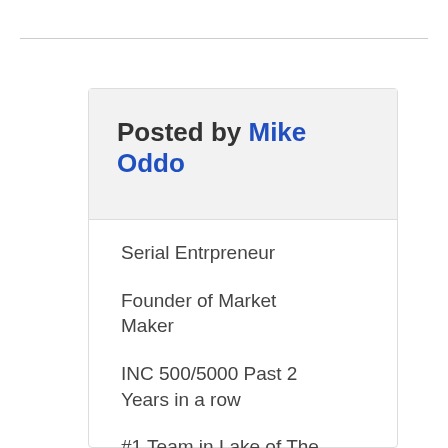Posted by Mike Oddo
Serial Entrpreneur
Founder of Market Maker
INC 500/5000 Past 2 Years in a row
#1 Team in Lake of The Ozarks by 26
Host Of The Real Estate